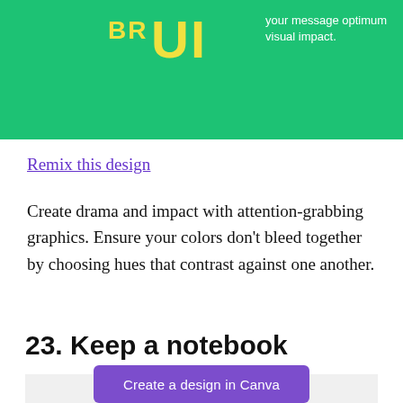[Figure (illustration): Green banner with yellow 'BR UI' large text and white descriptive text about giving your message optimum visual impact]
Remix this design
Create drama and impact with attention-grabbing graphics. Ensure your colors don't bleed together by choosing hues that contrast against one another.
23. Keep a notebook
[Figure (photo): Partial notebook image at bottom of page]
Create a design in Canva